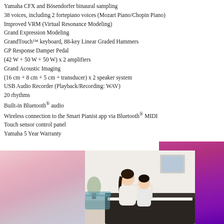Yamaha CFX and Bösendorfer binaural sampling
38 voices, including 2 fortepiano voices (Mozart Piano/Chopin Piano)
Improved VRM (Virtual Resonance Modeling)
Grand Expression Modeling
GrandTouch™ keyboard, 88-key Linear Graded Hammers
GP Response Damper Pedal
(42 W + 50 W + 50 W) x 2 amplifiers
Grand Acoustic Imaging
(16 cm + 8 cm + 5 cm + transducer) x 2 speaker system
USB Audio Recorder (Playback/Recording: WAV)
20 rhythms
Built-in Bluetooth® audio
Wireless connection to the Smart Pianist app via Bluetooth® MIDI
Touch sensor control panel
Yamaha 5 Year Warranty
[Figure (photo): A woman and a child sitting together at a Yamaha digital piano in a bright living room setting, with decorative pink/mauve curtains on the left and a purple/magenta abstract panel on the right.]